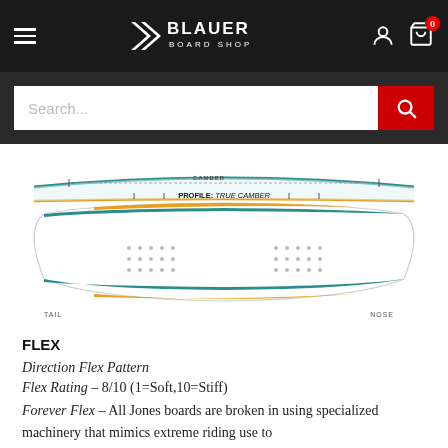Blauer Board Shop
[Figure (illustration): Snowboard profile diagram showing side view and top view with camber profile label. Shows 'PROFILE: TRUE CAMBER' text, tail and nose labels, and binding insert dots.]
FLEX
Direction Flex Pattern
Flex Rating – 8/10 (1=Soft,10=Stiff)
Forever Flex – All Jones boards are broken in using specialized machinery that mimics extreme riding use to